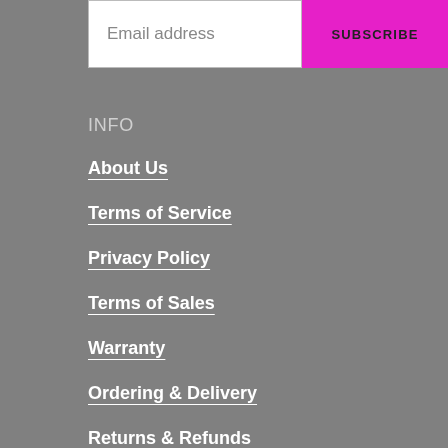[Figure (screenshot): Email subscription bar with text input labeled 'Email address' and a magenta 'SUBSCRIBE' button]
INFO
About Us
Terms of Service
Privacy Policy
Terms of Sales
Warranty
Ordering & Delivery
Returns & Refunds